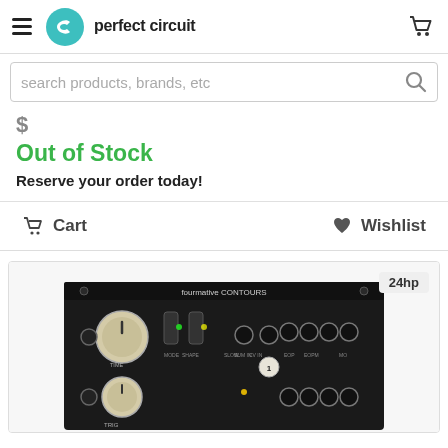perfect circuit
search products, brands, etc
price (partially visible)
Out of Stock
Reserve your order today!
Cart
Wishlist
[Figure (photo): Fourmative CONTOURS eurorack module, 24hp, dark panel with knobs and patch points]
24hp